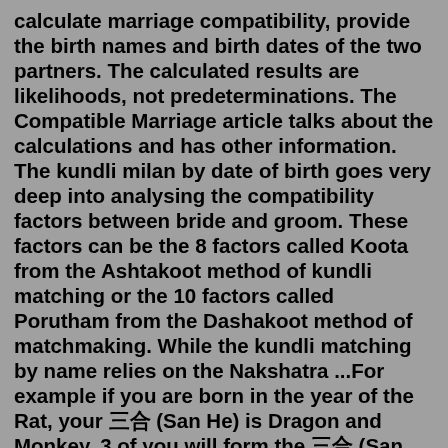calculate marriage compatibility, provide the birth names and birth dates of the two partners. The calculated results are likelihoods, not predeterminations. The Compatible Marriage article talks about the calculations and has other information. The kundli milan by date of birth goes very deep into analysing the compatibility factors between bride and groom. These factors can be the 8 factors called Koota from the Ashtakoot method of kundli matching or the 10 factors called Porutham from the Dashakoot method of matchmaking. While the kundli matching by name relies on the Nakshatra ...For example if you are born in the year of the Rat, your 三合 (San He) is Dragon and Monkey. 3 of you will form the 三合 (San He). 1. Rat, Dragon, Monkey 2. Ox, Snake, Rooster 3. Tiger, Horse, Dog 4. Rabbit, Sheep, Pig. Red Agate Sanhe Zodiac Symbol Bracelet for Woman Red Agate Sanhe Zodiac Symbol Bracelet for Man.Kundli matching which is known as 36 Guna Milan, Kundli Milan, Janam Patrika Milan, Teva Milan, here you can matching birth date...